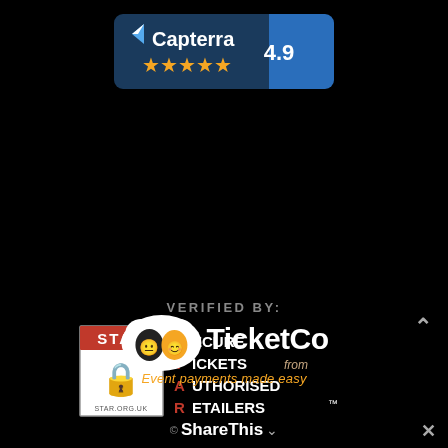[Figure (logo): Capterra badge with dark blue background, arrow icon, 'Capterra' text, 4.9 rating, and 5 orange stars]
VERIFIED BY:
[Figure (logo): STAR (Secure Tickets from Authorised Retailers) badge with red STAR label, padlock icon, and star.org.uk URL]
[Figure (logo): TicketCo logo with theatre mask icon and tagline 'Event payments made easy']
© ShareThis